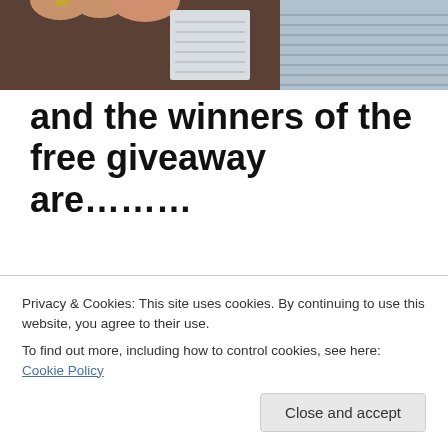[Figure (photo): Top portion of a photo showing a hand holding lined paper slips, partially cropped at top of page]
and the winners of the free giveaway are………
[Figure (photo): A hand picking or drawing a folded lined paper slip from a pile of paper slips, giveaway draw photo]
Privacy & Cookies: This site uses cookies. By continuing to use this website, you agree to their use.
To find out more, including how to control cookies, see here: Cookie Policy
Close and accept